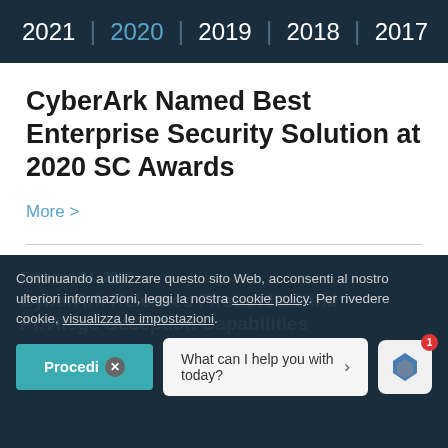2021 | 2020 | 2019 | 2018 | 2017
CyberArk Named Best Enterprise Security Solution at 2020 SC Awards
More >
Febbraio 24, 2020
Continuando a utilizzare questo sito Web, acconsenti al nostro ulteriori informazioni, leggi la nostra cookie policy. Per rivedere cookie, visualizza le impostazioni.
CyberArk Releases First of Its Kind Privilege Deception Capabilities
Procedi  What can I help you with today?